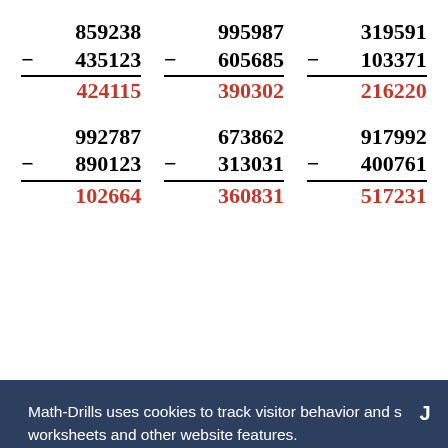[Figure (other): Math subtraction worksheet showing 6 problems in a 3x2 grid. Row 1: 859238-435123=424115, 995987-605685=390302, 319591-103371=216220. Row 2: 992787-890123=102664, 673862-313031=360831, 917992-400761=517231. Results shown in red.]
Math-Drills uses cookies to track visitor behavior and serve ads. This revenue allows for the development and revision of math worksheets and other website features.
Privacy and Cookies Policy
Decline
Allow All Cookies